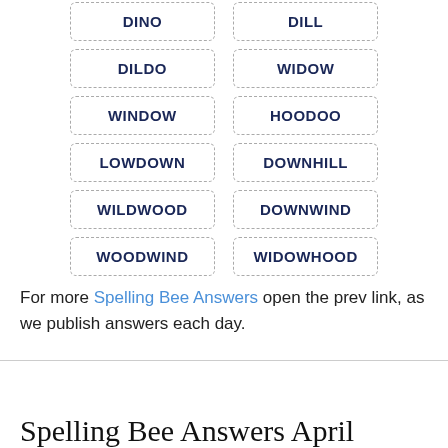DINO
DILL
DILDO
WIDOW
WINDOW
HOODOO
LOWDOWN
DOWNHILL
WILDWOOD
DOWNWIND
WOODWIND
WIDOWHOOD
For more Spelling Bee Answers open the prev link, as we publish answers each day.
Spelling Bee Answers April